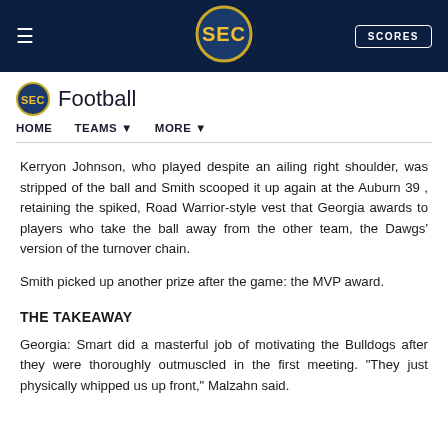SEC Football — HOME   TEAMS ▾   MORE ▾
Kerryon Johnson, who played despite an ailing right shoulder, was stripped of the ball and Smith scooped it up again at the Auburn 39 , retaining the spiked, Road Warrior-style vest that Georgia awards to players who take the ball away from the other team, the Dawgs' version of the turnover chain.
Smith picked up another prize after the game: the MVP award.
THE TAKEAWAY
Georgia: Smart did a masterful job of motivating the Bulldogs after they were thoroughly outmuscled in the first meeting. "They just physically whipped us up front," Malzahn said.